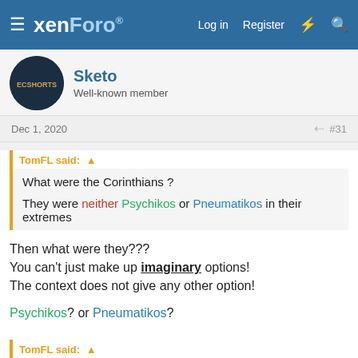xenForo — Log in | Register
Sketo
Well-known member
Dec 1, 2020  #31
TomFL said: ↑
What were the Corinthians ?
They were neither Psychikos or Pneumatikos in their extremes
Then what were they???
You can't just make up imaginary options!
The context does not give any other option!
Psychikos? or Pneumatikos?
TomFL said: ↑
Why do you keep pushing your either view or